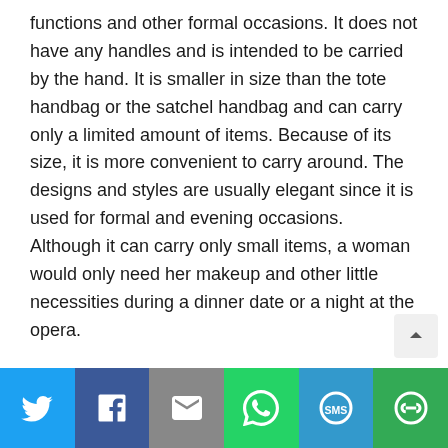functions and other formal occasions. It does not have any handles and is intended to be carried by the hand. It is smaller in size than the tote handbag or the satchel handbag and can carry only a limited amount of items. Because of its size, it is more convenient to carry around. The designs and styles are usually elegant since it is used for formal and evening occasions. Although it can carry only small items, a woman would only need her makeup and other little necessities during a dinner date or a night at the opera.
3. Satchel Handbag
Satchel handbags are made of leather or cloth and have long straps that women can wear across their bodies. It can be used at daytime as well as at nighttime and are very useful in carrying several items. Most students and working women prefer to use satchel handbags because they can
[Figure (other): Social sharing bar with Twitter, Facebook, Email, WhatsApp, SMS, and More buttons]